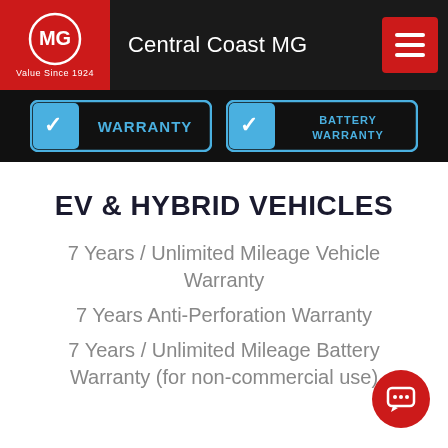Central Coast MG
[Figure (screenshot): Two warranty badge buttons: WARRANTY and BATTERY WARRANTY on dark background]
EV & HYBRID VEHICLES
7 Years / Unlimited Mileage Vehicle Warranty
7 Years Anti-Perforation Warranty
7 Years / Unlimited Mileage Battery Warranty (for non-commercial use)